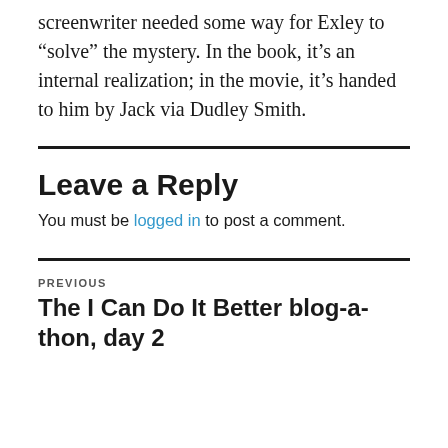screenwriter needed some way for Exley to “solve” the mystery. In the book, it’s an internal realization; in the movie, it’s handed to him by Jack via Dudley Smith.
Leave a Reply
You must be logged in to post a comment.
PREVIOUS
The I Can Do It Better blog-a-thon, day 2